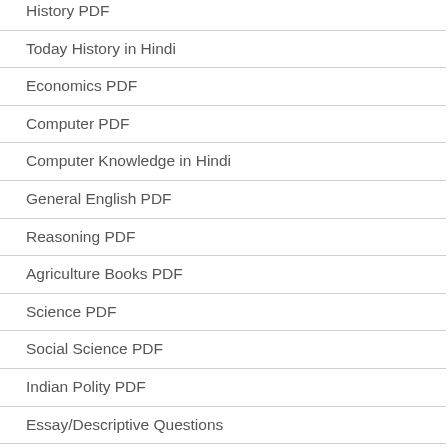History PDF
Today History in Hindi
Economics PDF
Computer PDF
Computer Knowledge in Hindi
General English PDF
Reasoning PDF
Agriculture Books PDF
Science PDF
Social Science PDF
Indian Polity PDF
Essay/Descriptive Questions
India’s Great Personalities
Banking GK in Hindi